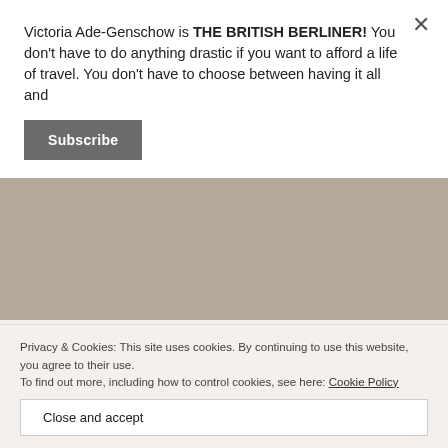Victoria Ade-Genschow is THE BRITISH BERLINER! You don't have to do anything drastic if you want to afford a life of travel. You don't have to choose between having it all and
Subscribe
civilised city. Ever!
Vienna – the world capital of music, music everywhere!
'Just because I don't drink coffee. 'Doesn't mean I can't have coffee culture with hot chocolate, in Vienna!
Privacy & Cookies: This site uses cookies. By continuing to use this website, you agree to their use.
To find out more, including how to control cookies, see here: Cookie Policy
Close and accept